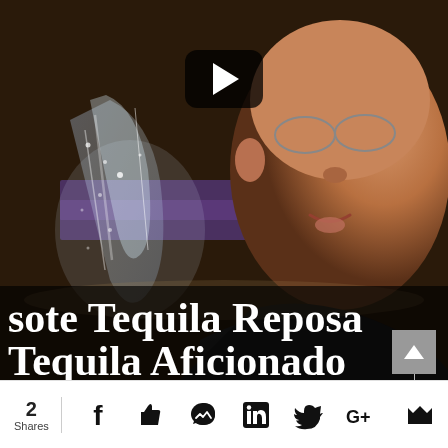[Figure (photo): Video thumbnail showing a man's face close-up in a dark setting with a play button overlay and title text 'sote Tequila Reposa / Tequila Aficionado' overlaid at the bottom]
2
Shares
[Figure (infographic): Social share bar with icons for Facebook, Like, Messenger, LinkedIn, Twitter, Google+, and a bookmark icon]